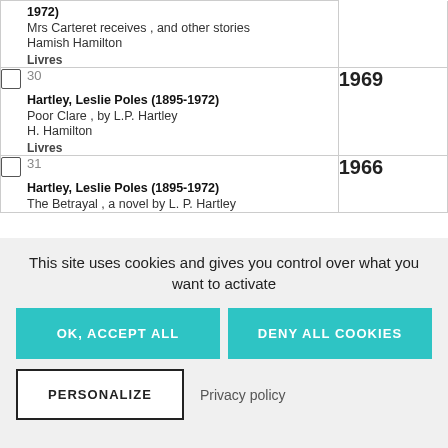| # | Year | Author/Details |
| --- | --- | --- |
|  | 1972 | Hartley, Leslie Poles (1895-1972)
Mrs Carteret receives , and other stories
Hamish Hamilton
Livres |
| 30 | 1969 | Hartley, Leslie Poles (1895-1972)
Poor Clare , by L.P. Hartley
H. Hamilton
Livres |
| 31 | 1966 | Hartley, Leslie Poles (1895-1972)
The Betrayal , a novel by L. P. Hartley |
This site uses cookies and gives you control over what you want to activate
OK, ACCEPT ALL
DENY ALL COOKIES
PERSONALIZE
Privacy policy